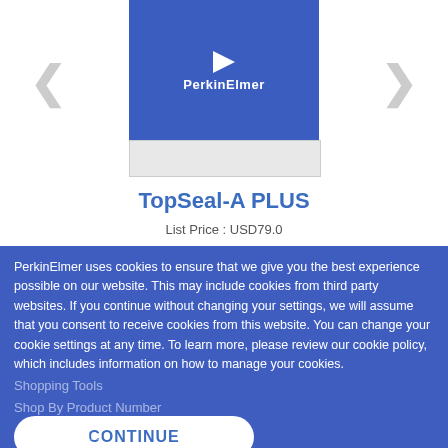[Figure (photo): PerkinElmer TopSeal-A PLUS product box in blue with PerkinElmer logo, shown on a product page carousel]
TopSeal-A PLUS
List Price : USD79.0
PerkinElmer uses cookies to ensure that we give you the best experience possible on our website. This may include cookies from third party websites. If you continue without changing your settings, we will assume that you consent to receive cookies from this website. You can change your cookie settings at any time. To learn more, please review our cookie policy, which includes information on how to manage your cookies.
Shopping Tools
Shop By Product Number
CONTINUE
Customer Care